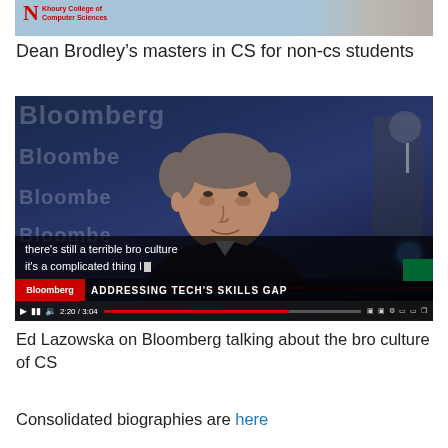[Figure (photo): Top portion of a photo showing Northeastern University Khoury College of Computer Sciences logo and a person in background]
Dean Brodley’s masters in CS for non-cs students
[Figure (screenshot): Bloomberg video screenshot showing Ed Lazowska being interviewed, with subtitle 'there’s still a terrible bro culture it’s a complicated thing I', Bloomberg logo bar showing 'ADDRESSING TECH'S SKILLS GAP', playback controls showing 2:20/3:04]
Ed Lazowska on Bloomberg talking about the bro culture of CS
Consolidated biographies are here